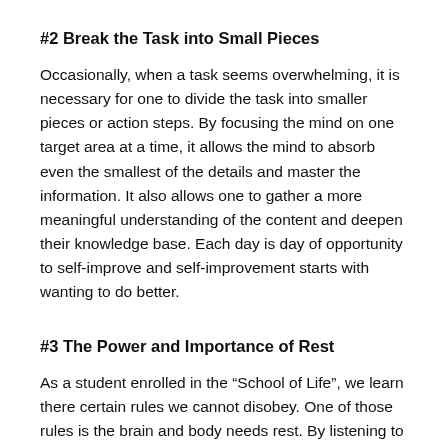#2 Break the Task into Small Pieces
Occasionally, when a task seems overwhelming, it is necessary for one to divide the task into smaller pieces or action steps. By focusing the mind on one target area at a time, it allows the mind to absorb even the smallest of the details and master the information. It also allows one to gather a more meaningful understanding of the content and deepen their knowledge base. Each day is day of opportunity to self-improve and self-improvement starts with wanting to do better.
#3 The Power and Importance of Rest
As a student enrolled in the “School of Life”, we learn there certain rules we cannot disobey. One of those rules is the brain and body needs rest. By listening to our body, we learn there are a number of advantages in giving the mind